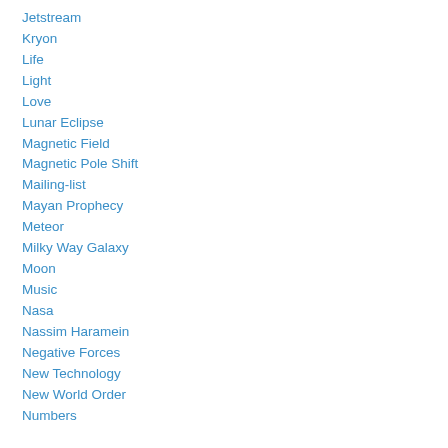Jetstream
Kryon
Life
Light
Love
Lunar Eclipse
Magnetic Field
Magnetic Pole Shift
Mailing-list
Mayan Prophecy
Meteor
Milky Way Galaxy
Moon
Music
Nasa
Nassim Haramein
Negative Forces
New Technology
New World Order
Numbers